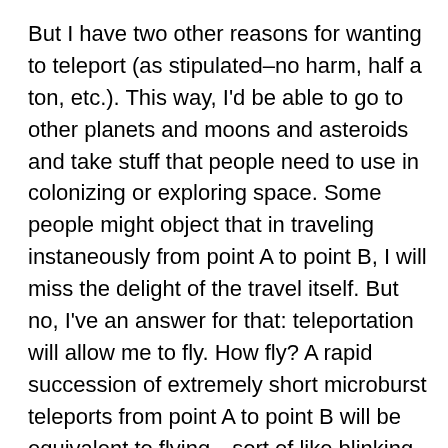But I have two other reasons for wanting to teleport (as stipulated–no harm, half a ton, etc.). This way, I'd be able to go to other planets and moons and asteroids and take stuff that people need to use in colonizing or exploring space. Some people might object that in traveling instaneously from point A to point B, I will miss the delight of the travel itself. But no, I've an answer for that: teleportation will allow me to fly. How fly? A rapid succession of extremely short microburst teleports from point A to point B will be equivalent to flying—sort of like blinking, the eyes will fill in anything missed in during the microburst transit.
(Thank you for asking!)
If you had access to a time machine just once, is there anything you'd want to change? Eith...